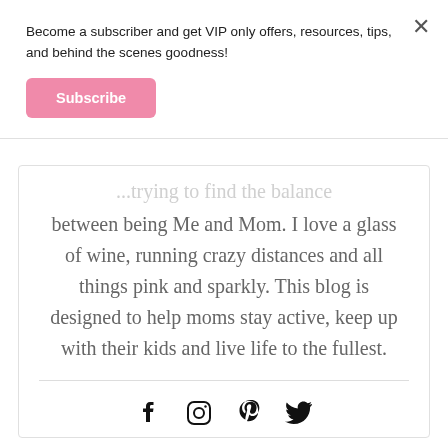Become a subscriber and get VIP only offers, resources, tips, and behind the scenes goodness!
Subscribe
... trying to find the balance between being Me and Mom. I love a glass of wine, running crazy distances and all things pink and sparkly. This blog is designed to help moms stay active, keep up with their kids and live life to the fullest.
[Figure (infographic): Social media icons: Facebook, Instagram, Pinterest, Twitter]